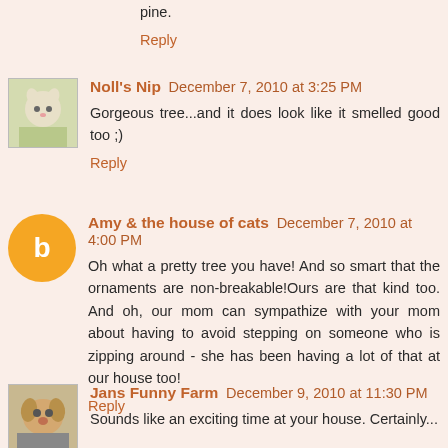pine.
Reply
Noll's Nip   December 7, 2010 at 3:25 PM
Gorgeous tree...and it does look like it smelled good too ;)
Reply
Amy & the house of cats   December 7, 2010 at 4:00 PM
Oh what a pretty tree you have! And so smart that the ornaments are non-breakable!Ours are that kind too. And oh, our mom can sympathize with your mom about having to avoid stepping on someone who is zipping around - she has been having a lot of that at our house too!
Reply
Jans Funny Farm   December 9, 2010 at 11:30 PM
Sounds like an exciting time at your house. Certainly...